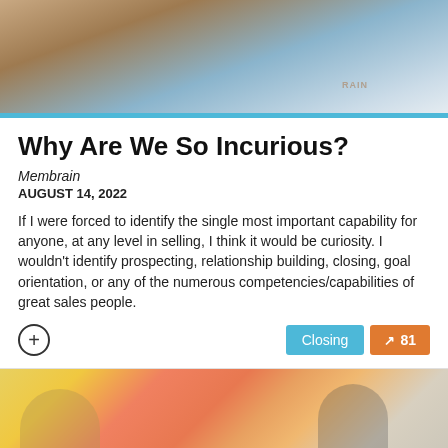[Figure (photo): Top portion of article card showing a partial photo of a person in a light blue shirt, with a teal/blue horizontal bar at the bottom of the image]
Why Are We So Incurious?
Membrain
AUGUST 14, 2022
If I were forced to identify the single most important capability for anyone, at any level in selling, I think it would be curiosity. I wouldn't identify prospecting, relationship building, closing, goal orientation, or any of the numerous competencies/capabilities of great sales people.
[Figure (photo): Bottom photo showing people collaborating at a wall covered with colorful sticky notes, a person in a yellow plaid shirt and a man in a suit reaching toward the wall]